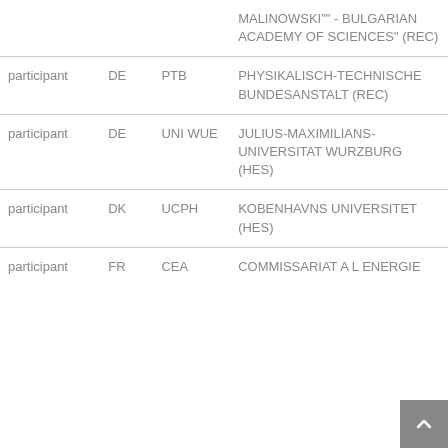| Role | Country | Short Name | Organization |
| --- | --- | --- | --- |
|  |  |  | MALINOWSKI"" - BULGARIAN ACADEMY OF SCIENCES" (REC) |
| participant | DE | PTB | PHYSIKALISCH-TECHNISCHE BUNDESANSTALT (REC) |
| participant | DE | UNI WUE | JULIUS-MAXIMILIANS-UNIVERSITAT WURZBURG (HES) |
| participant | DK | UCPH | KOBENHAVNS UNIVERSITET (HES) |
| participant | FR | CEA | COMMISSARIAT A L ENERGIE |